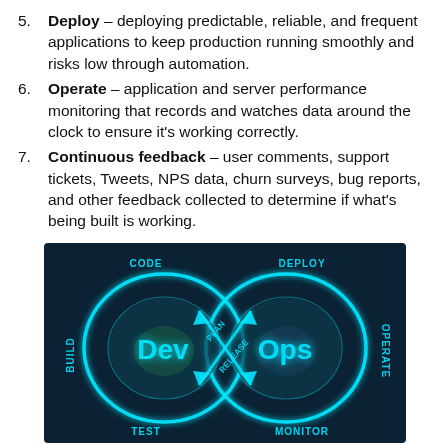5. Deploy – deploying predictable, reliable, and frequent applications to keep production running smoothly and risks low through automation.
6. Operate – application and server performance monitoring that records and watches data around the clock to ensure it's working correctly.
7. Continuous feedback – user comments, support tickets, Tweets, NPS data, churn surveys, bug reports, and other feedback collected to determine if what's being built is working.
[Figure (illustration): DevOps infinity loop diagram showing Dev and Ops circles connected in an infinity symbol. The left loop (Dev side) contains the label 'Dev' and is surrounded by the stages: CODE, BUILD, TEST. The right loop (Ops side) contains 'Ops' and is surrounded by: RELEASE, DEPLOY, OPERATE, MONITOR. In the center crossing area: PLAN and RELEASE labels appear. Background is dark teal/navy with neon cyan glowing lines and text.]